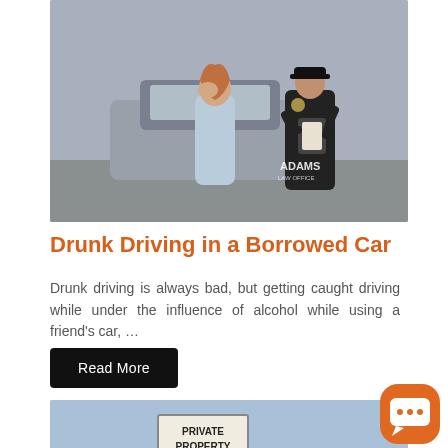[Figure (photo): A woman with red hair in a blue outfit stands beside a car, holding her head in her hands while a police officer in black uniform holds a clipboard. The Adams Law Office watermark is visible.]
Drunk Driving in a Borrowed Car
Drunk driving is always bad, but getting caught driving while under the influence of alcohol while using a friend's car, …
Read More
[Figure (photo): A Private Property sign in front of a sky background with a road.]
[Figure (illustration): Orange rounded square chat bubble widget icon with three dots inside a white speech bubble.]